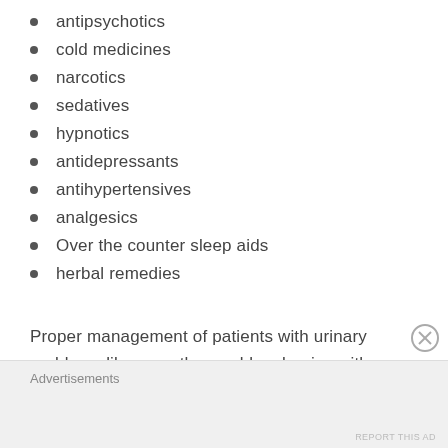antipsychotics
cold medicines
narcotics
sedatives
hypnotics
antidepressants
antihypertensives
analgesics
Over the counter sleep aids
herbal remedies
Proper management of patients with urinary problems like any other problem begins with a thorough and comprehensive evaluation, including a void diary, urine
Advertisements